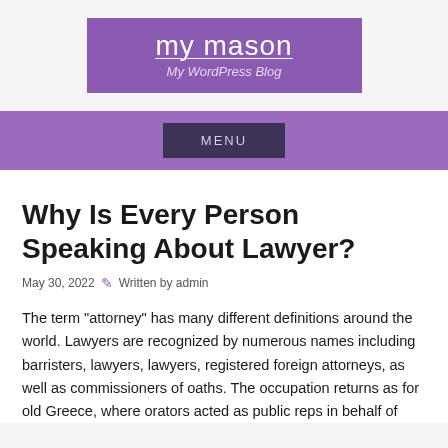my mason
My WordPress Blog
Why Is Every Person Speaking About Lawyer?
May 30, 2022 ☰ Written by admin
The term "attorney" has many different definitions around the world. Lawyers are recognized by numerous names including barristers, lawyers, lawyers, registered foreign attorneys, as well as commissioners of oaths. The occupation returns as for old Greece, where orators acted as public reps in behalf of